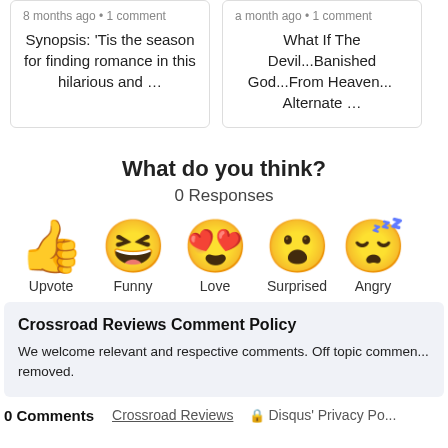8 months ago • 1 comment
Synopsis: 'Tis the season for finding romance in this hilarious and …
a month ago • 1 comment
What If The Devil...Banished God...From Heaven...  Alternate …
What do you think?
0 Responses
[Figure (infographic): Row of reaction emoji icons: thumbs up (Upvote), laughing face with tongue (Funny), heart-eyes face (Love), surprised face (Surprised), sleepy/angry face (Angry)]
Crossroad Reviews Comment Policy
We welcome relevant and respective comments. Off topic comments will be removed.
0 Comments   Crossroad Reviews   🔒 Disqus' Privacy Po...